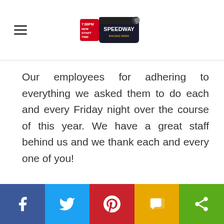[Racing event logo with hamburger menu]
Our employees for adhering to everything we asked them to do each and every Friday night over the course of this year. We have a great staff behind us and we thank each and every one of you!
[Figure (infographic): Social sharing bar with Facebook, Twitter, Pinterest, SMS, and Share buttons]